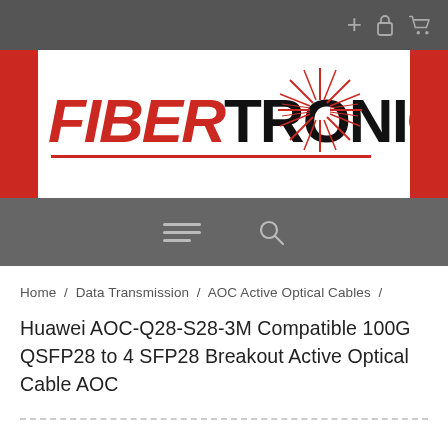Fibertronics website header with navigation icons
[Figure (logo): Fibertronics logo: FIBER in red italic bold, TRONICS in black bold, red underline, red starburst graphic to the right]
[Figure (screenshot): Navigation bar with hamburger menu icon and search icon]
Home / Data Transmission / AOC Active Optical Cables /
Huawei AOC-Q28-S28-3M Compatible 100G QSFP28 to 4 SFP28 Breakout Active Optical Cable AOC